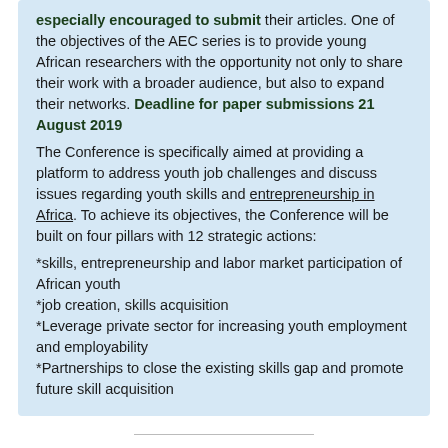especially encouraged to submit their articles. One of the objectives of the AEC series is to provide young African researchers with the opportunity not only to share their work with a broader audience, but also to expand their networks. Deadline for paper submissions 21 August 2019
The Conference is specifically aimed at providing a platform to address youth job challenges and discuss issues regarding youth skills and entrepreneurship in Africa. To achieve its objectives, the Conference will be built on four pillars with 12 strategic actions:
*skills, entrepreneurship and labor market participation of African youth
*job creation, skills acquisition
*Leverage private sector for increasing youth employment and employability
*Partnerships to close the existing skills gap and promote future skill acquisition
North American Water LOSS – 2019
3-5 December , 2019, Nashville, TN, USA